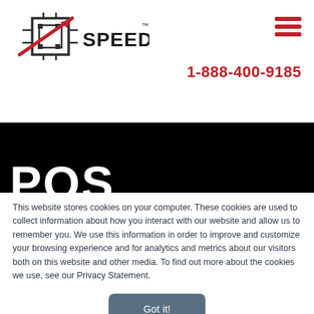[Figure (logo): SpeedLine logo with red arrow and circuit-board icon, text SPEEDLINE]
[Figure (other): Hamburger menu icon (three red horizontal lines)]
1-888-400-9185
POS Quotes:
This website stores cookies on your computer. These cookies are used to collect information about how you interact with our website and allow us to remember you. We use this information in order to improve and customize your browsing experience and for analytics and metrics about our visitors both on this website and other media. To find out more about the cookies we use, see our Privacy Statement.
Got it!